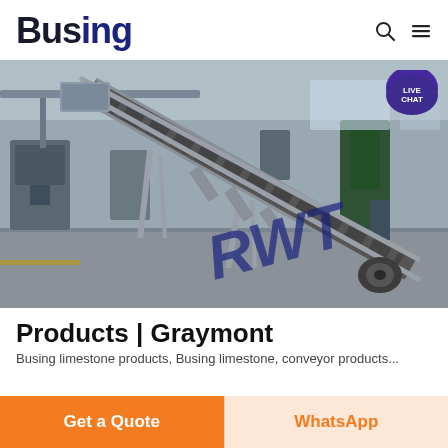Busing
[Figure (photo): Industrial factory interior showing a belt conveyor system on a factory floor. Large inclined conveyor belt visible with metal frame structure. Blue handwritten-style watermark text 'RWT' visible on the image. A circular 'LIVE CHAT' badge is in the top right corner of the image.]
Products | Graymont
Busing limestone products, Busing limestone, conveyor products
Get a Quote
WhatsApp